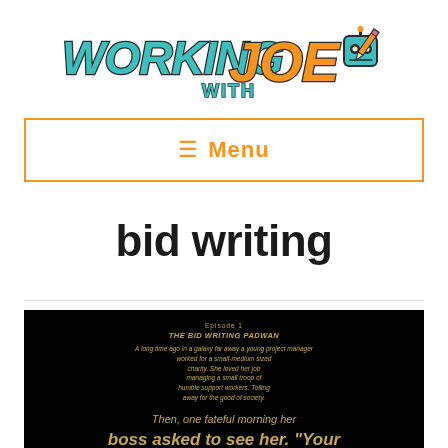[Figure (logo): Working With Joe logo — stylized text with robot mascot holding a pencil]
≡  Menu
bid writing
[Figure (photo): Black background image with Star Wars-style yellow crawl text reading: 'Episode 1 THE BID WRITING PADWAN A long time ago in a galaxy far away a young project manager worked for a small-medium sized charity. She loved her job managing a small troop of humble support workers. Toiling away for the good of society. Then, one fateful morning her boss asked to see her. "Your project funding runs out in 9 months. We have to win a new...']